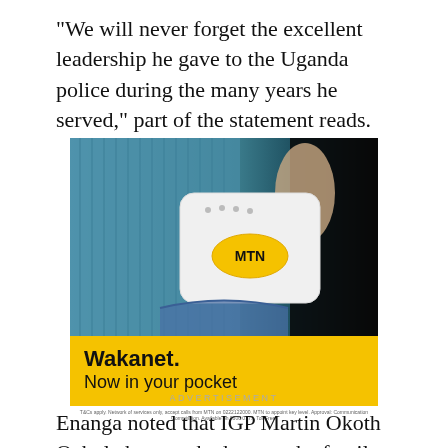“We will never forget the excellent leadership he gave to the Uganda police during the many years he served,” part of the statement reads.
[Figure (photo): MTN Wakanet advertisement showing a white portable WiFi router device with MTN logo being placed into a pocket of blue jeans. Yellow banner at bottom reads 'Wakanet. Now in your pocket'. Small disclaimer text below image.]
ADVERTISEMENT
Enanga noted that IGP Martin Okoth Ochola has reached out to the family members of the deceased